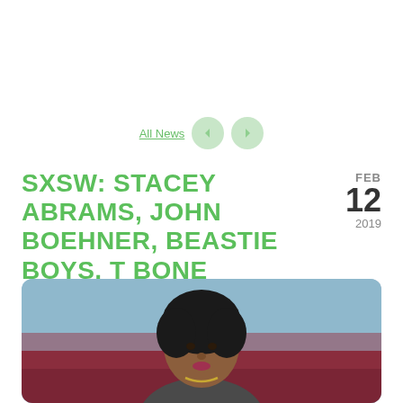All News
SXSW: STACEY ABRAMS, JOHN BOEHNER, BEASTIE BOYS, T BONE BURNETT JOIN SPEAKER LINEUP
FEB 12 2019
[Figure (photo): Photo of a woman (Stacey Abrams) looking upward, wearing a necklace, with a blue and dark red background.]